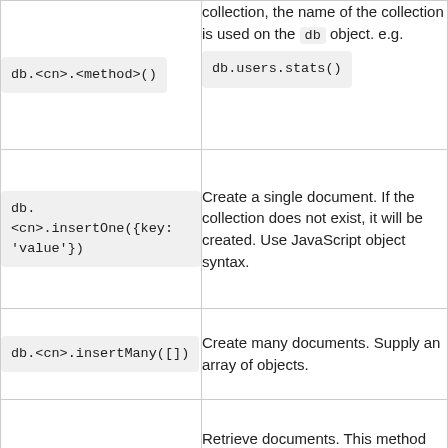| Command | Description |
| --- | --- |
| db.<cn>.<method>() | collection, the name of the collection is used on the db object. e.g. db.users.stats() |
| db.<cn>.insertOne({key: 'value'}) | Create a single document. If the collection does not exist, it will be created. Use JavaScript object syntax. |
| db.<cn>.insertMany([]) | Create many documents. Supply an array of objects. |
|  | Retrieve documents. This method has a lot going on. See the... |